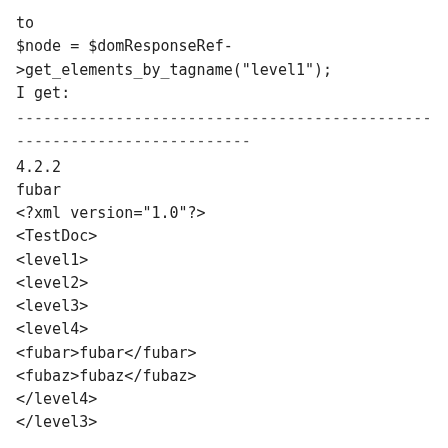to
$node = $domResponseRef-
&gt;get_elements_by_tagname("level1");
I get:
--------------------------------------------------------------------------------
4.2.2
fubar
<?xml version="1.0"?>
<TestDoc>
<level1>
<level2>
<level3>
<level4>
<fubar>fubar</fubar>
<fubaz>fubaz</fubaz>
</level4>
</level3>